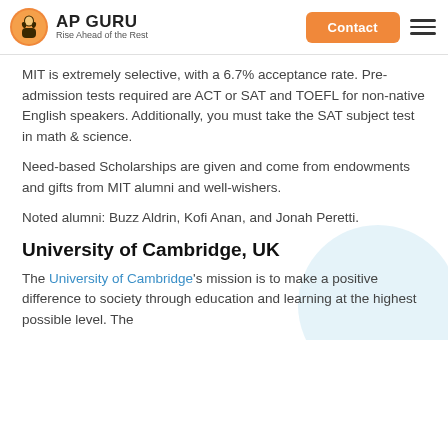AP GURU Rise Ahead of the Rest
MIT is extremely selective, with a 6.7% acceptance rate. Pre-admission tests required are ACT or SAT and TOEFL for non-native English speakers. Additionally, you must take the SAT subject test in math & science.
Need-based Scholarships are given and come from endowments and gifts from MIT alumni and well-wishers.
Noted alumni: Buzz Aldrin, Kofi Anan, and Jonah Peretti.
University of Cambridge, UK
The University of Cambridge's mission is to make a positive difference to society through education and learning at the highest possible level. The